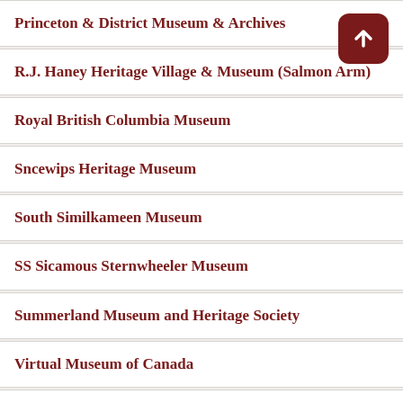Princeton & District Museum & Archives
R.J. Haney Heritage Village & Museum (Salmon Arm)
Royal British Columbia Museum
Sncewips Heritage Museum
South Similkameen Museum
SS Sicamous Sternwheeler Museum
Summerland Museum and Heritage Society
Virtual Museum of Canada
Westbank Museum